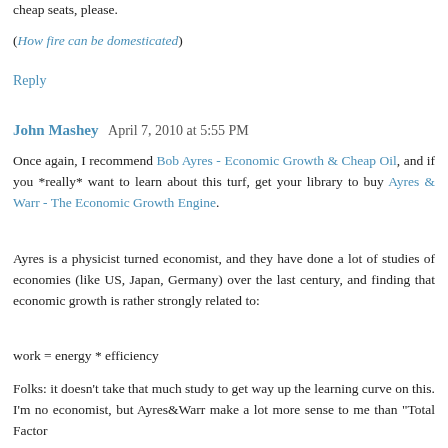cheap seats, please.
(How fire can be domesticated)
Reply
John Mashey  April 7, 2010 at 5:55 PM
Once again, I recommend Bob Ayres - Economic Growth & Cheap Oil, and if you *really* want to learn about this turf, get your library to buy Ayres & Warr - The Economic Growth Engine.
Ayres is a physicist turned economist, and they have done a lot of studies of economies (like US, Japan, Germany) over the last century, and finding that economic growth is rather strongly related to:
work = energy * efficiency
Folks: it doesn't take that much study to get way up the learning curve on this. I'm no economist, but Ayres&Warr make a lot more sense to me than "Total Factor